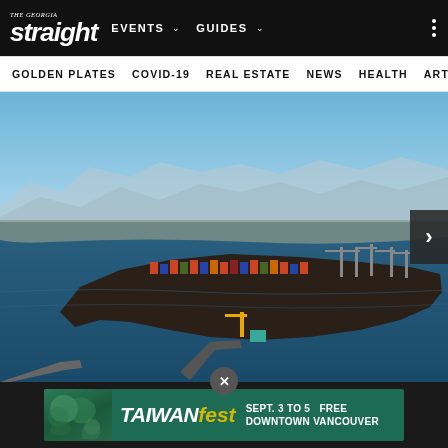THE GEORGIA STRAIGHT — EVENTS | GUIDES
GOLDEN PLATES  COVID-19  REAL ESTATE  NEWS  HEALTH  ARTS
[Figure (photo): Aerial view of a port/terminal on a peninsula surrounded by water, with mountains in the background and a bridge causeway leading to the terminal facility filled with shipping containers and cranes.]
[Figure (photo): TAIWANfest advertisement banner: SEPT. 3 TO 5 FREE DOWNTOWN VANCOUVER]